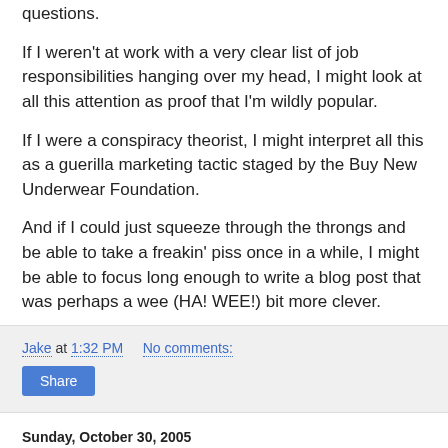questions.
If I weren't at work with a very clear list of job responsibilities hanging over my head, I might look at all this attention as proof that I'm wildly popular.
If I were a conspiracy theorist, I might interpret all this as a guerilla marketing tactic staged by the Buy New Underwear Foundation.
And if I could just squeeze through the throngs and be able to take a freakin' piss once in a while, I might be able to focus long enough to write a blog post that was perhaps a wee (HA! WEE!) bit more clever.
Jake at 1:32 PM    No comments:
Share
Sunday, October 30, 2005
What do you get